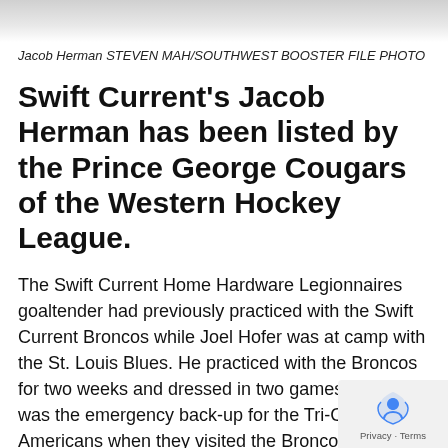[Figure (photo): Photo strip at top of page, partially visible grayscale image of Jacob Herman]
Jacob Herman STEVEN MAH/SOUTHWEST BOOSTER FILE PHOTO
Swift Current's Jacob Herman has been listed by the Prince George Cougars of the Western Hockey League.
The Swift Current Home Hardware Legionnaires goaltender had previously practiced with the Swift Current Broncos while Joel Hofer was at camp with the St. Louis Blues. He practiced with the Broncos for two weeks and dressed in two games. He also was the emergency back-up for the Tri-City Americans when they visited the Broncos on November 14